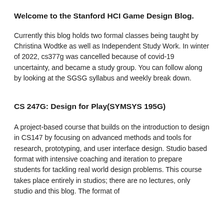Welcome to the Stanford HCI Game Design Blog.
Currently this blog holds two formal classes being taught by Christina Wodtke as well as Independent Study Work. In winter of 2022, cs377g was cancelled because of covid-19 uncertainty, and became a study group. You can follow along by looking at the SGSG syllabus and weekly break down.
CS 247G: Design for Play(SYMSYS 195G)
A project-based course that builds on the introduction to design in CS147 by focusing on advanced methods and tools for research, prototyping, and user interface design. Studio based format with intensive coaching and iteration to prepare students for tackling real world design problems. This course takes place entirely in studios; there are no lectures, only studio and this blog. The format of